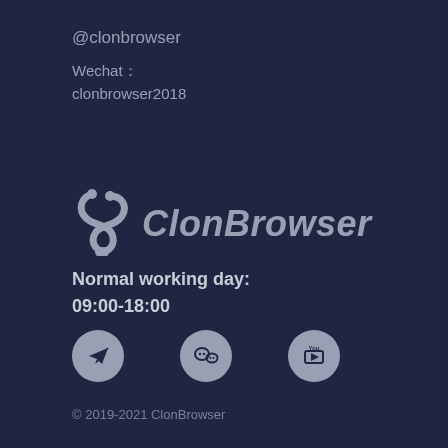@clonbrowser
Wechat： clonbrowser2018
[Figure (logo): ClonBrowser logo with stylized snake/chain icon and italic bold text 'ClonBrowser']
Normal working day: 09:00-18:00
[Figure (illustration): Three social media icon circles: Telegram, WeChat, YouTube]
© 2019-2021 ClonBrowser